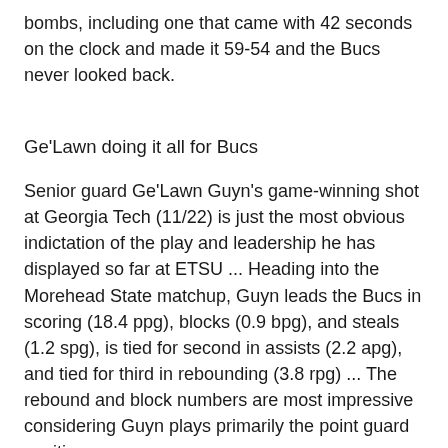bombs, including one that came with 42 seconds on the clock and made it 59-54 and the Bucs never looked back.
Ge'Lawn doing it all for Bucs
Senior guard Ge'Lawn Guyn's game-winning shot at Georgia Tech (11/22) is just the most obvious indictation of the play and leadership he has displayed so far at ETSU ... Heading into the Morehead State matchup, Guyn leads the Bucs in scoring (18.4 ppg), blocks (0.9 bpg), and steals (1.2 spg), is tied for second in assists (2.2 apg), and tied for third in rebounding (3.8 rpg) ... The rebound and block numbers are most impressive considering Guyn plays primarily the point guard position.
Cromer meeting expectations as offensive threat
When transfer junior guard T.J. Cromer (Albany, Ga.) joined the Buccaneers, he was touted as a scoring threat and a